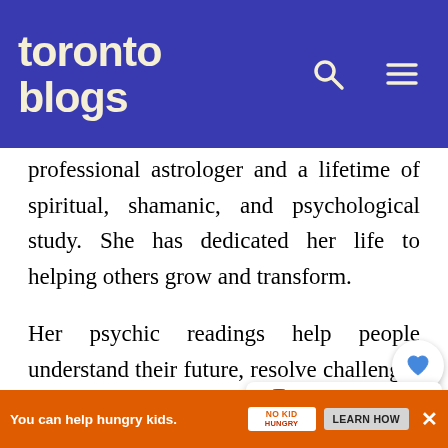toronto blogs
professional astrologer and a lifetime of spiritual, shamanic, and psychological study. She has dedicated her life to helping others grow and transform.
Her psychic readings help people understand their future, resolve challenges in their lives, attract positive relationships into their lives, and discover the true meaning of personal happiness.
Her services include events & parties, in-person readings
[Figure (infographic): WHAT'S NEXT widget showing a thumbnail of Toronto city and text 'Things to Do in Toronto']
[Figure (infographic): Advertisement banner: 'You can help hungry kids. NO KID HUNGRY LEARN HOW']